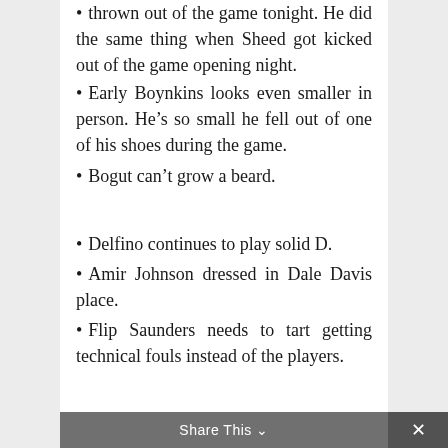thrown out of the game tonight. He did the same thing when Sheed got kicked out of the game opening night.
Early Boynkins looks even smaller in person. He's so small he fell out of one of his shoes during the game.
Bogut can't grow a beard.
Delfino continues to play solid D.
Amir Johnson dressed in Dale Davis place.
Flip Saunders needs to tart getting technical fouls instead of the players.
Share This ×